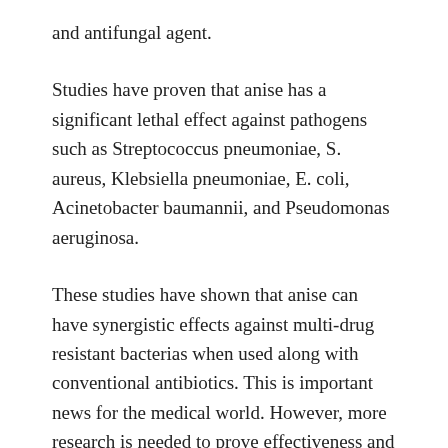and antifungal agent.
Studies have proven that anise has a significant lethal effect against pathogens such as Streptococcus pneumoniae, S. aureus, Klebsiella pneumoniae, E. coli, Acinetobacter baumannii, and Pseudomonas aeruginosa.
These studies have shown that anise can have synergistic effects against multi-drug resistant bacterias when used along with conventional antibiotics. This is important news for the medical world. However, more research is needed to prove effectiveness and observe possible side effects before using it to people.